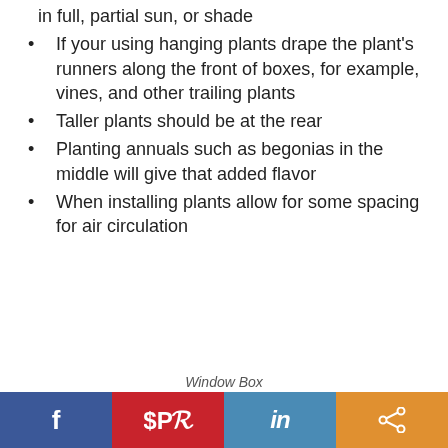in full, partial sun, or shade
If your using hanging plants drape the plant’s runners along the front of boxes, for example, vines, and other trailing plants
Taller plants should be at the rear
Planting annuals such as begonias in the middle will give that added flavor
When installing plants allow for some spacing for air circulation
Window Box